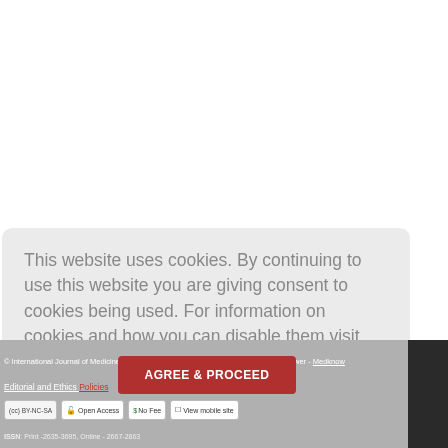This website uses cookies. By continuing to use this website you are giving consent to cookies being used. For information on cookies and how you can disable them visit our
Privacy and Cookie Policy.
© International Journal of Medicine and Health Development | Published by Wolters Kluwer - Medknow
AGREE & PROCEED
Editorial and Ethics Policies
(cc) BY-NC-SA   Open Access   $ No Fee   View mobile site
ISSN: Print -2635-3695, Online - 2667-2863